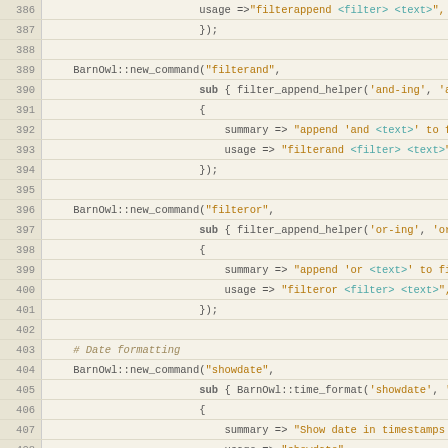[Figure (screenshot): Source code listing lines 386-410 showing Perl BarnOwl command definitions for filterappend, filterand, filteror, and showdate commands with string arguments in orange, keywords in bold, and comments in italic tan color.]